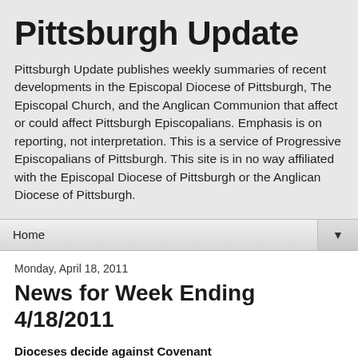Pittsburgh Update
Pittsburgh Update publishes weekly summaries of recent developments in the Episcopal Diocese of Pittsburgh, The Episcopal Church, and the Anglican Communion that affect or could affect Pittsburgh Episcopalians. Emphasis is on reporting, not interpretation. This is a service of Progressive Episcopalians of Pittsburgh. This site is in no way affiliated with the Episcopal Diocese of Pittsburgh or the Anglican Diocese of Pittsburgh.
Home
Monday, April 18, 2011
News for Week Ending 4/18/2011
Dioceses decide against Covenant
Two widely spaced dioceses have decided to oppose adoption of the Anglican Covenant in their respective churches.On April 13, 2011, the General Convention